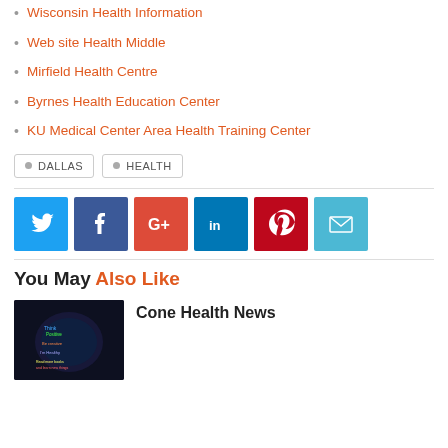Wisconsin Health Information
Web site Health Middle
Mirfield Health Centre
Byrnes Health Education Center
KU Medical Center Area Health Training Center
• DALLAS  • HEALTH
[Figure (infographic): Social sharing icons row: Twitter (blue), Facebook (dark blue), Google+ (red), LinkedIn (blue), Pinterest (red), Email (light blue)]
You May Also Like
[Figure (photo): Brain health illustration — dark background with colorful text labels]
Cone Health News